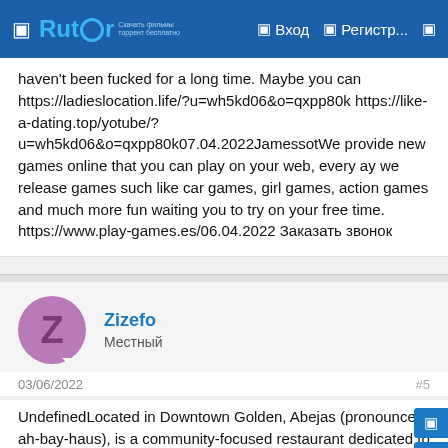Rutor | Вход | Регистр...
haven't been fucked for a long time. Maybe you can https://ladieslocation.life/?u=wh5kd06&o=qxpp80k https://like-a-dating.top/yotube/?u=wh5kd06&o=qxpp80k07.04.2022JamessotWe provide new games online that you can play on your web, every ay we release games such like car games, girl games, action games and much more fun waiting you to try on your free time. https://www.play-games.es/06.04.2022 Заказать звонок
Zizefo
Местный
03/06/2022
#5
UndefinedLocated in Downtown Golden, Abejas (pronounced ah-bay-haus), is a community-focused restaurant dedicated to seasonality. We use fresh local produce, organic meats, and sustainable fish. The beverage program brings light to craft distilleries and breweries, small production wineries, and classic